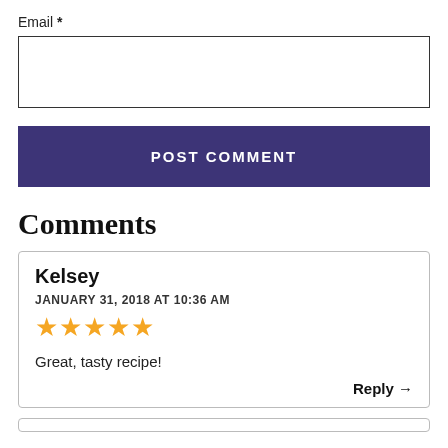Email *
POST COMMENT
Comments
Kelsey
JANUARY 31, 2018 AT 10:36 AM
[Figure (other): Five orange star rating icons]
Great, tasty recipe!
Reply →